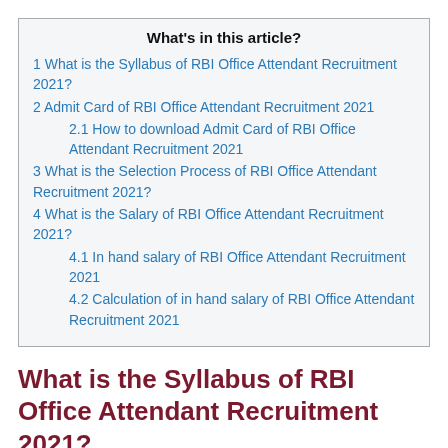What's in this article?
1 What is the Syllabus of RBI Office Attendant Recruitment 2021?
2 Admit Card of RBI Office Attendant Recruitment 2021
2.1 How to download Admit Card of RBI Office Attendant Recruitment 2021
3 What is the Selection Process of RBI Office Attendant Recruitment 2021?
4 What is the Salary of RBI Office Attendant Recruitment 2021?
4.1 In hand salary of RBI Office Attendant Recruitment 2021
4.2 Calculation of in hand salary of RBI Office Attendant Recruitment 2021
What is the Syllabus of RBI Office Attendant Recruitment 2021?